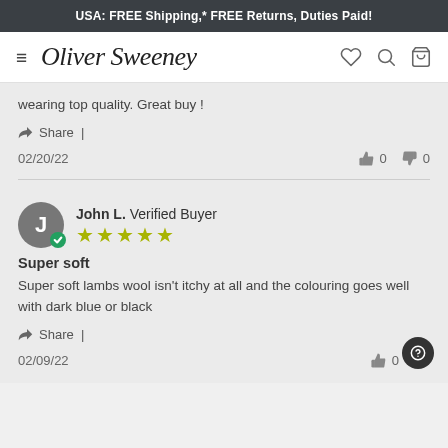USA: FREE Shipping,* FREE Returns, Duties Paid!
[Figure (logo): Oliver Sweeney logo with hamburger menu and nav icons (heart, search, bag)]
wearing top quality. Great buy !
Share |
02/20/22   👍 0   👎 0
John L.  Verified Buyer  ★★★★★
Super soft
Super soft lambs wool isn't itchy at all and the colouring goes well with dark blue or black
Share |
02/09/22   👍 0   👎 0